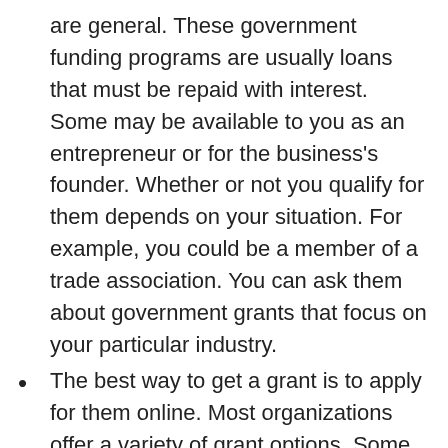are general. These government funding programs are usually loans that must be repaid with interest. Some may be available to you as an entrepreneur or for the business's founder. Whether or not you qualify for them depends on your situation. For example, you could be a member of a trade association. You can ask them about government grants that focus on your particular industry.
The best way to get a grant is to apply for them online. Most organizations offer a variety of grant options. Some are free and others require an application fee. Before you apply for a grant, you should read the guidelines carefully. While some grants do allow multiple applications, it is important to double check the eligibility criteria of each one. You should have a decent credit score to be eligible.